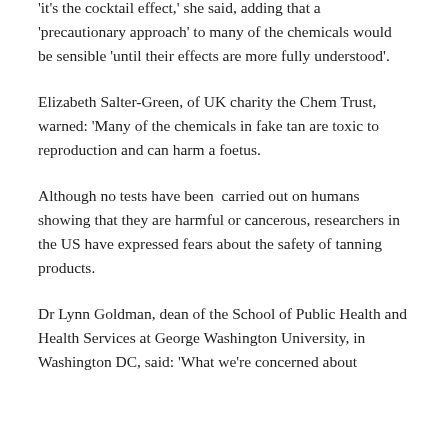'it's the cocktail effect,' she said, adding that a 'precautionary approach' to many of the chemicals would be sensible 'until their effects are more fully understood'.
Elizabeth Salter-Green, of UK charity the Chem Trust, warned: 'Many of the chemicals in fake tan are toxic to reproduction and can harm a foetus.
Although no tests have been  carried out on humans showing that they are harmful or cancerous, researchers in the US have expressed fears about the safety of tanning products.
Dr Lynn Goldman, dean of the School of Public Health and Health Services at George Washington University, in Washington DC, said: 'What we're concerned about